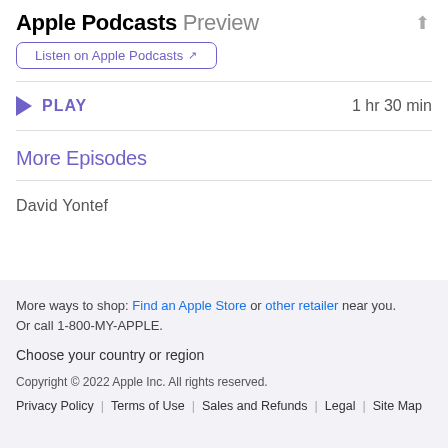Apple Podcasts Preview
Listen on Apple Podcasts ↗
▶ PLAY   1 hr 30 min
More Episodes
David Yontef
More ways to shop: Find an Apple Store or other retailer near you. Or call 1-800-MY-APPLE.
Choose your country or region
Copyright © 2022 Apple Inc. All rights reserved.
Privacy Policy | Terms of Use | Sales and Refunds | Legal | Site Map